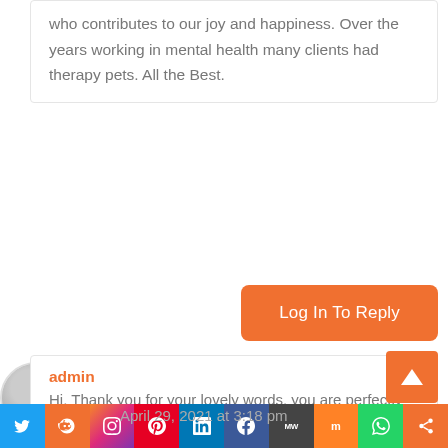who contributes to our joy and happiness. Over the years working in mental health many clients had therapy pets. All the Best.
Log In To Reply
admin
April 29, 2021 at 3:18 pm
Hi, Thank you for your lovely words, you are perfectly right. Many blessings to you